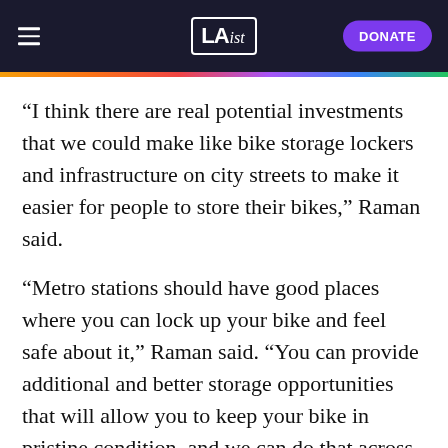LAist | DONATE
“I think there are real potential investments that we could make like bike storage lockers and infrastructure on city streets to make it easier for people to store their bikes,” Raman said.
“Metro stations should have good places where you can lock up your bike and feel safe about it," Raman said. "You can provide additional and better storage opportunities that will allow you to keep your bike in pristine condition, and we can do that across the entire city in a thoughtful way. That would be a good investment in addressing bike theft.”